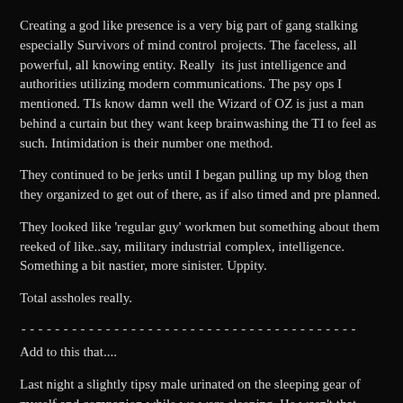Creating a god like presence is a very big part of gang stalking especially Survivors of mind control projects. The faceless, all powerful, all knowing entity. Really  its just intelligence and authorities utilizing modern communications. The psy ops I mentioned. TIs know damn well the Wizard of OZ is just a man behind a curtain but they want keep brainwashing the TI to feel as such. Intimidation is their number one method.
They continued to be jerks until I began pulling up my blog then they organized to get out of there, as if also timed and pre planned.
They looked like 'regular guy' workmen but something about them reeked of like..say, military industrial complex, intelligence. Something a bit nastier, more sinister. Uppity.
Total assholes really.
----------------------------------------
Add to this that....
Last night a slightly tipsy male urinated on the sleeping gear of myself and companion while we were sleeping. He wasn't that drunk and it was done maliciously. It was no accident.